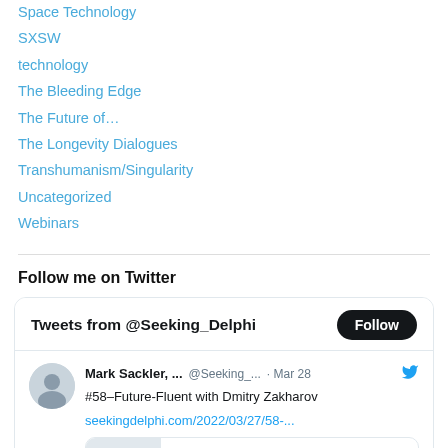Space Technology
SXSW
technology
The Bleeding Edge
The Future of…
The Longevity Dialogues
Transhumanism/Singularity
Uncategorized
Webinars
Follow me on Twitter
[Figure (screenshot): Twitter widget showing Tweets from @Seeking_Delphi with a Follow button, and a tweet by Mark Sackler (@Seeking_...) dated Mar 28 about #58-Future-Fluent with Dmitry Zakharov with link seekingdelphi.com/2022/03/27/58-...]